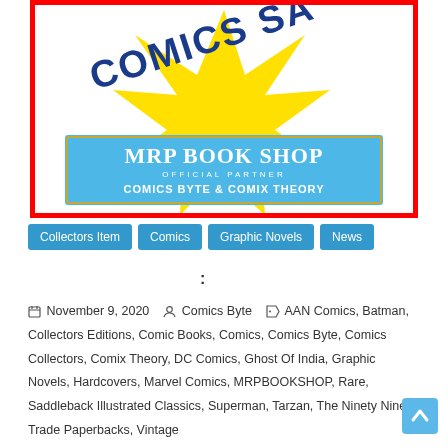[Figure (illustration): Comics sale banner with yellow starburst graphic, red border, showing 'COMICS SALE' text at top, and blue box reading 'MRP BOOK SHOP OFFICIAL PARTNER COMICS BYTE & COMIX THEORY']
Collectors Item
Comics
Graphic Novels
News
:
November 9, 2020   Comics Byte   AAN Comics, Batman, Collectors Editions, Comic Books, Comics, Comics Byte, Comics Collectors, Comix Theory, DC Comics, Ghost Of India, Graphic Novels, Hardcovers, Marvel Comics, MRPBOOKSHOP, Rare, Saddleback Illustrated Classics, Superman, Tarzan, The Ninety Nine, Trade Paperbacks, Vintage